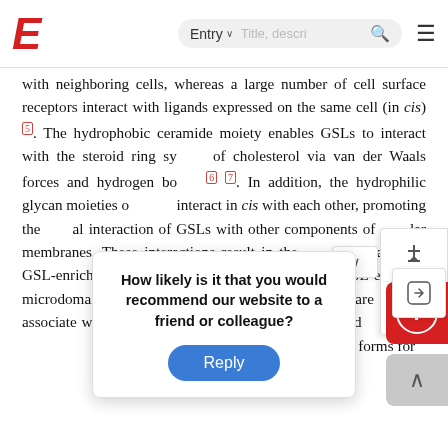E [logo] | Entry ∨ [search bar] 🔍 ≡
with neighboring cells, whereas a large number of cell surface receptors interact with ligands expressed on the same cell (in cis) [5]. The hydrophobic ceramide moiety enables GSLs to interact with the steroid ring system of cholesterol via van der Waals forces and hydrogen bonds [6] [7]. In addition, the hydrophilic glycan moieties of GSLs interact in cis with each other, promoting the lateral interaction of GSLs with other components of cellular membranes. These interactions result in the phase separation of GSL-enriched membrane microdomains. GSL-enriched microdomains in the outer surfaces of membranes are able to associate with membrane proteins and lipid-anchored proteins in the inner leaflets of membranes in the supramolecular forms for cell biology context related disciplines.
How likely is it that you would recommend our website to a friend or colleague?
Reply